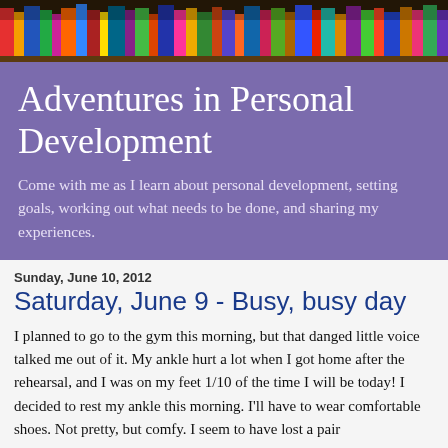[Figure (photo): Colorful bookshelf photo banner at the top of the page]
Adventures in Personal Development
Come with me as I learn about personal development, setting goals, working out what needs to be done, and sharing my experiences.
Sunday, June 10, 2012
Saturday, June 9 - Busy, busy day
I planned to go to the gym this morning, but that danged little voice talked me out of it. My ankle hurt a lot when I got home after the rehearsal, and I was on my feet 1/10 of the time I will be today! I decided to rest my ankle this morning. I'll have to wear comfortable shoes. Not pretty, but comfy. I seem to have lost a pair